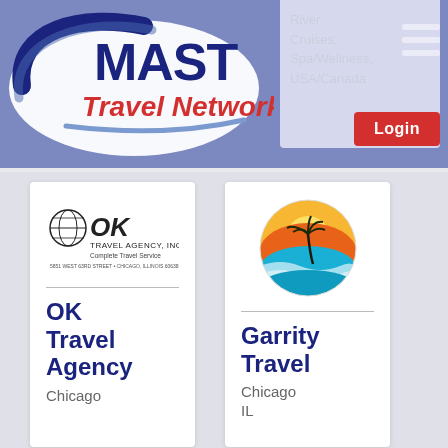[Figure (logo): MAST Travel Network logo with blue arc and swoosh design]
River Cruises, Spa/Wellness, USA/Canada
[Figure (other): Hamburger menu icon (three white horizontal bars)]
Login
[Figure (logo): OK Travel Agency, Inc. letterhead logo with globe icon]
OK Travel Agency
Chicago
[Figure (logo): Garrity Travel circular logo with sunset, palm tree, and ocean waves]
Garrity Travel
Chicago
IL